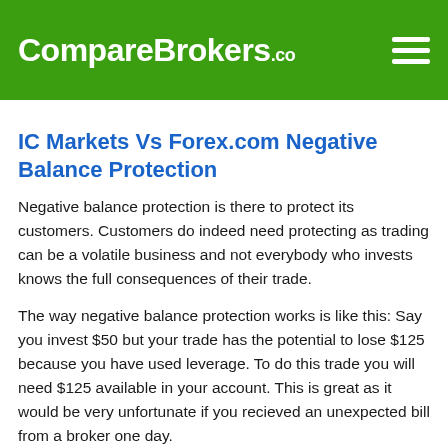CompareBrokers.co
IC Markets Vs Forex.com Negative Balance Protection
Negative balance protection is there to protect its customers. Customers do indeed need protecting as trading can be a volatile business and not everybody who invests knows the full consequences of their trade.
The way negative balance protection works is like this: Say you invest $50 but your trade has the potential to lose $125 because you have used leverage. To do this trade you will need $125 available in your account. This is great as it would be very unfortunate if you recieved an unexpected bill from a broker one day.
Both IC Markets and Forex.com do offer clients negative balance protection.